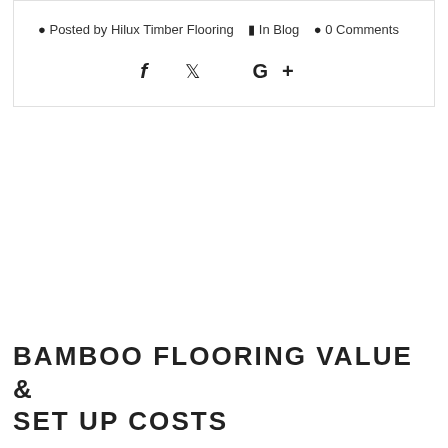Posted by Hilux Timber Flooring   In Blog   0 Comments
[Figure (other): Social sharing icons: Facebook (f), Twitter (bird), Google+ (G+)]
BAMBOO FLOORING VALUE & SET UP COSTS